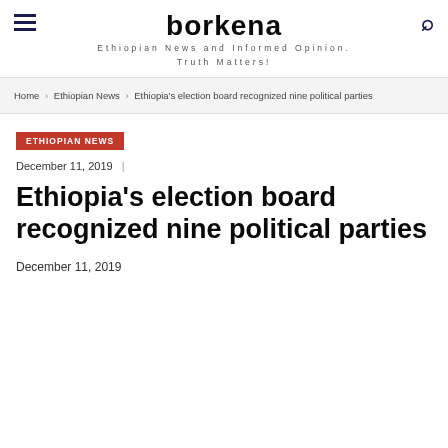borkena
Ethiopian News and Informed Opinion. Truth Matters!
Home › Ethiopian News › Ethiopia's election board recognized nine political parties
ETHIOPIAN NEWS
December 11, 2019 |
Ethiopia's election board recognized nine political parties
December 11, 2019